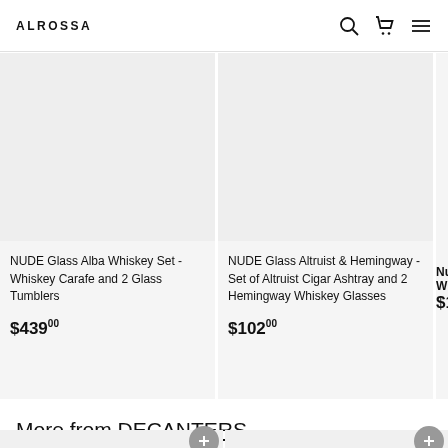ALROSSA
[Figure (screenshot): Product card: NUDE Glass Alba Whiskey Set - Whiskey Carafe and 2 Glass Tumblers, $439.00]
NUDE Glass Alba Whiskey Set - Whiskey Carafe and 2 Glass Tumblers
$439.00
[Figure (screenshot): Product card: NUDE Glass Altruist & Hemingway - Set of Altruist Cigar Ashtray and 2 Hemingway Whiskey Glasses, $102.00]
NUDE Glass Altruist & Hemingway - Set of Altruist Cigar Ashtray and 2 Hemingway Whiskey Glasses
$102.00
Nude Whisk $104
More from DECANTERS